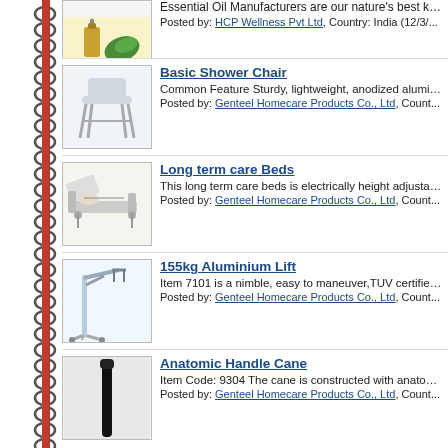Essential Oil Manufacturers are our nature's best kept secret... Posted by: HCP Wellness Pvt Ltd, Country: India (12/3/...)
Basic Shower Chair. Common Feature Sturdy, lightweight, anodized aluminium frame... Posted by: Genteel Homecare Products Co., Ltd, Country: ...
Long term care Beds. This long term care beds is electrically height adjustable and... Posted by: Genteel Homecare Products Co., Ltd, Country: ...
155kg Aluminium Lift. Item 7101 is a nimble, easy to maneuver, TUV certified mobil... Posted by: Genteel Homecare Products Co., Ltd, Country: ...
Anatomic Handle Cane. Item Code: 9304 The cane is constructed with anatomic handle... Posted by: Genteel Homecare Products Co., Ltd, Country: ...